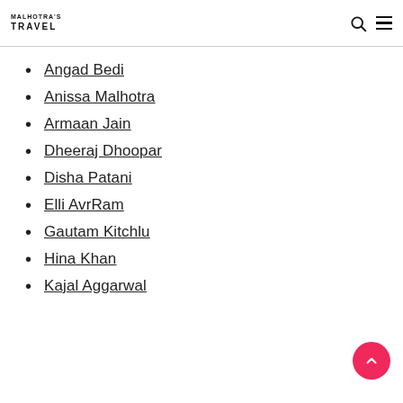MALHOTRA'S TRAVEL
Angad Bedi
Anissa Malhotra
Armaan Jain
Dheeraj Dhoopar
Disha Patani
Elli AvrRam
Gautam Kitchlu
Hina Khan
Kajal Aggarwal